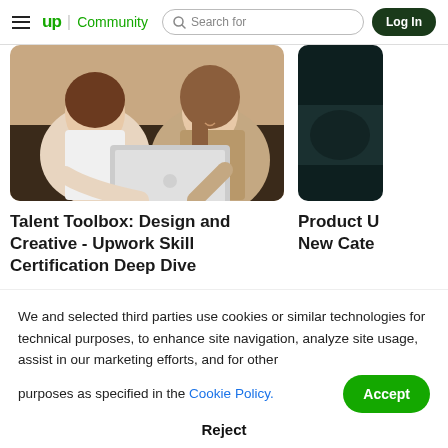up Community | Search for | Log In
[Figure (photo): Two women looking at a laptop together, one in white top, one in knit sweater, sitting at a cafe or office]
Talent Toolbox: Design and Creative - Upwork Skill Certification Deep Dive
[Figure (photo): Dark, moody partial image cropped at right edge, appears to show a dark room or device]
Product U New Cate
We and selected third parties use cookies or similar technologies for technical purposes, to enhance site navigation, analyze site usage, assist in our marketing efforts, and for other purposes as specified in the Cookie Policy.
Accept
Reject